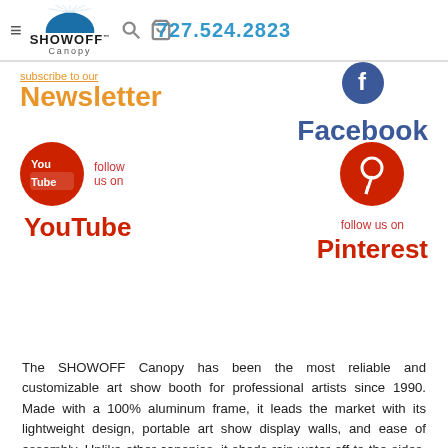SHOWOFF Canopy — 727.524.2823
subscribe to our Newsletter
Facebook
[Figure (logo): YouTube logo red circle with play icon]
follow us on
YouTube
[Figure (logo): Pinterest logo red circle with P icon]
follow us on
Pinterest
The SHOWOFF Canopy has been the most reliable and customizable art show booth for professional artists since 1990. Made with a 100% aluminum frame, it leads the market with its lightweight design, portable art show display walls, and ease of assembly. Unlike other canopies, it sheds rain water off to the sides, away from the entrance, and with only 16 major frame components, it is by far the easiest to put